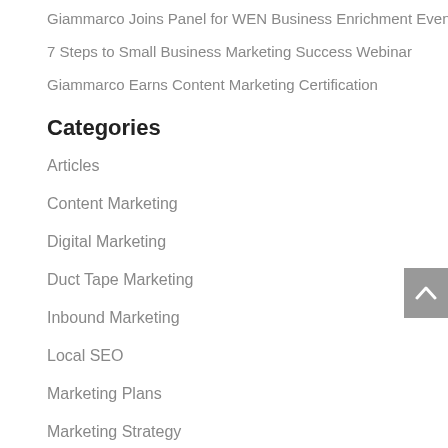Giammarco Joins Panel for WEN Business Enrichment Event
7 Steps to Small Business Marketing Success Webinar
Giammarco Earns Content Marketing Certification
Categories
Articles
Content Marketing
Digital Marketing
Duct Tape Marketing
Inbound Marketing
Local SEO
Marketing Plans
Marketing Strategy